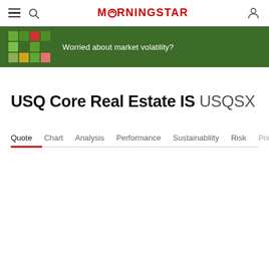Morningstar navigation bar with hamburger menu, search icon, Morningstar logo, and user icon
[Figure (infographic): Green advertisement banner with a grid of colored squares on the left and text: Worried about market volatility?]
USQ Core Real Estate IS USQSX
Quote | Chart | Analysis | Performance | Sustainability | Risk | Pric...